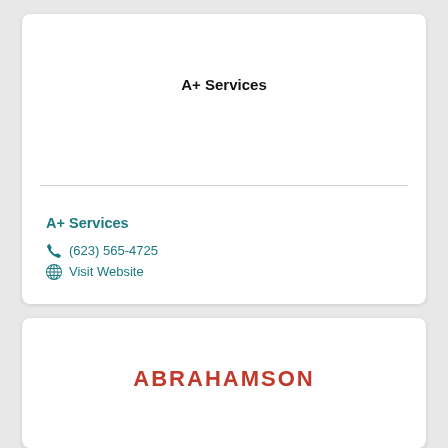A+ Services
A+ Services
(623) 565-4725
Visit Website
ABRAHAMSON